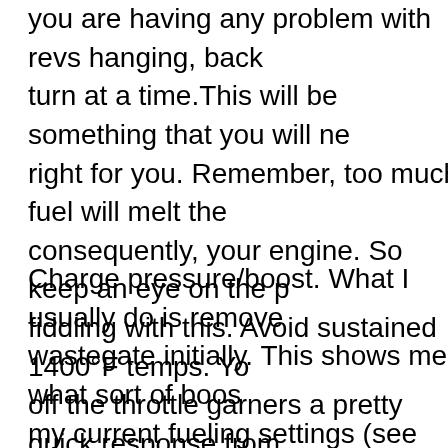you are having any problem with revs hanging, back turn at a time.This will be something that you will ne right for you. Remember, too much fuel will melt the consequently, your engine. So keep an eye on the p fiddling with this. Avoid sustained 1400°F temps. Yo off the throttle garners a pretty quick response from
Charge pressure/boost. What I usually do is remove wastegate initially. This shows me what sort of boos my current fueling settings (see fuel screw mod abo more charge pressure on a diesel=lower EGTs. Our much done around 24psi. Anything more than that is not good for power at all. I recommend keeping an e gauge though. I have not seen more than 20 psi in m is slipping now, so I will need to update this thread c replacement clutch installed. I will probably need a m controller once I get this all dialed in.